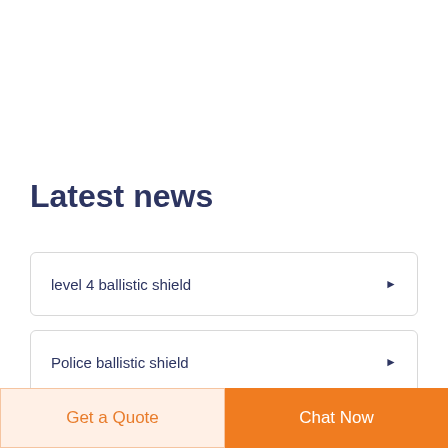Latest news
level 4 ballistic shield
Police ballistic shield
Get a Quote
Chat Now